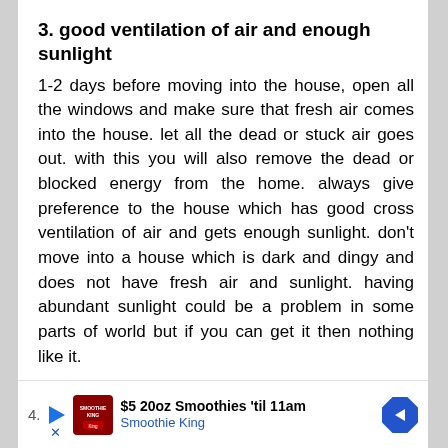3. good ventilation of air and enough sunlight
1-2 days before moving into the house, open all the windows and make sure that fresh air comes into the house. let all the dead or stuck air goes out. with this you will also remove the dead or blocked energy from the home. always give preference to the house which has good cross ventilation of air and gets enough sunlight. don't move into a house which is dark and dingy and does not have fresh air and sunlight. having abundant sunlight could be a problem in some parts of world but if you can get it then nothing like it.
[Figure (other): Advertisement banner: Smoothie King ad showing play button icon, Smoothie King logo, '$5 20oz Smoothies til 11am' text, 'Smoothie King' subtitle in blue, and a blue diamond-shaped arrow icon. Number '4.' visible at left.]